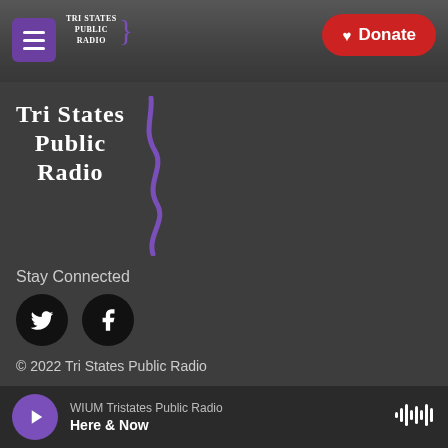[Figure (screenshot): Header bar with hamburger menu (purple), Tri States Public Radio logo, and red Donate button with heart icon on a dark gray/cloudy sky background]
[Figure (logo): Tri States Public Radio large logo with purple squiggle design on dark gray background]
Stay Connected
[Figure (other): Social media icons: Twitter (bird) and Facebook (f) in black circles]
© 2022 Tri States Public Radio
Contact Info
EEO File
FY21 Audit
WIUM Tristates Public Radio
Here & Now